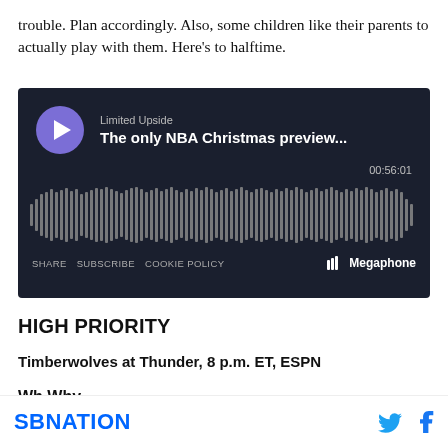trouble. Plan accordingly. Also, some children like their parents to actually play with them. Here’s to halftime.
[Figure (screenshot): Megaphone podcast embed player showing 'Limited Upside' episode titled 'The only NBA Christmas preview...' with duration 00:56:01, play button, waveform visualization, and SHARE, SUBSCRIBE, COOKIE POLICY links]
HIGH PRIORITY
Timberwolves at Thunder, 8 p.m. ET, ESPN
Why...
SBNATION